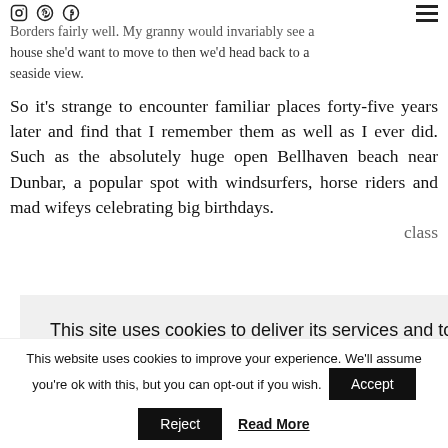Social icons (Instagram, Pinterest, Facebook) and hamburger menu
Borders fairly well. My granny would invariably see a house she'd want to move to then we'd head back to a seaside view.
So it's strange to encounter familiar places forty-five years later and find that I remember them as well as I ever did. Such as the absolutely huge open Bellhaven beach near Dunbar, a popular spot with windsurfers, horse riders and mad wifeys celebrating big birthdays. [partially obscured] class
[Figure (screenshot): Cookie consent overlay popup with text: 'This site uses cookies to deliver its services and to analyse traffic. By using this site, you agree to its use of cookies. Learn more']
This website uses cookies to improve your experience. We'll assume you're ok with this, but you can opt-out if you wish.
Reject | Read More | Accept